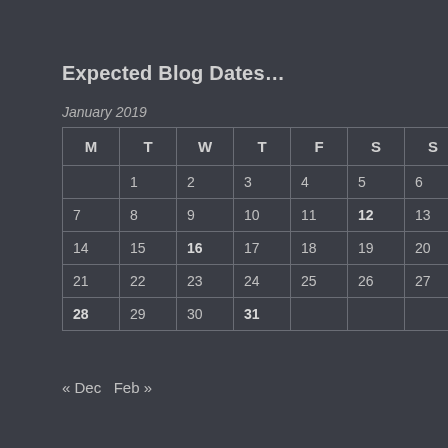Expected Blog Dates…
January 2019
| M | T | W | T | F | S | S |
| --- | --- | --- | --- | --- | --- | --- |
|  | 1 | 2 | 3 | 4 | 5 | 6 |
| 7 | 8 | 9 | 10 | 11 | 12 | 13 |
| 14 | 15 | 16 | 17 | 18 | 19 | 20 |
| 21 | 22 | 23 | 24 | 25 | 26 | 27 |
| 28 | 29 | 30 | 31 |  |  |  |
« Dec   Feb »